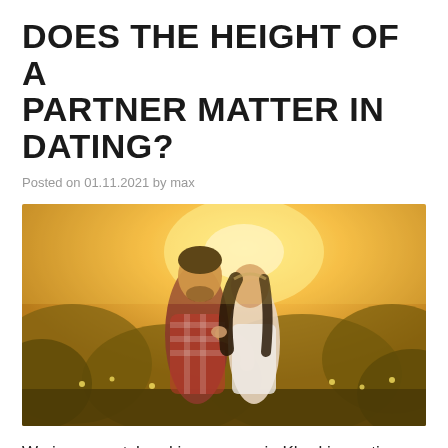DOES THE HEIGHT OF A PARTNER MATTER IN DATING?
Posted on 01.11.2021 by max
[Figure (photo): A couple in a golden-hour field, man and woman about to kiss, man wearing plaid shirt, woman in white dress, surrounded by yellow wildflowers]
We in our matchmaking agency in Kharkiv continue to make you acquainted with interesting facts and knowledge that might someday play a crucial role in the development of your relationships. Our Kharkov